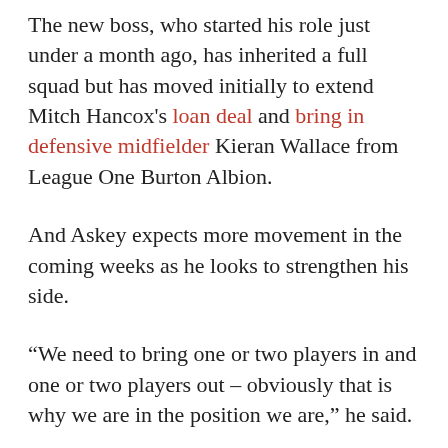The new boss, who started his role just under a month ago, has inherited a full squad but has moved initially to extend Mitch Hancox's loan deal and bring in defensive midfielder Kieran Wallace from League One Burton Albion.
And Askey expects more movement in the coming weeks as he looks to strengthen his side.
“We need to bring one or two players in and one or two players out – obviously that is why we are in the position we are,” he said.
“I’ve spoken to the Chairman, and he has been supportive in allowing me to bring players in so hopefully we will be able to bring one or two in.
“But it’s no use bringing people in if they are not capable, so we have to be patient and not rush into too much and eventually turns things around.”
Askey also outlined his intentions to get the crowd on